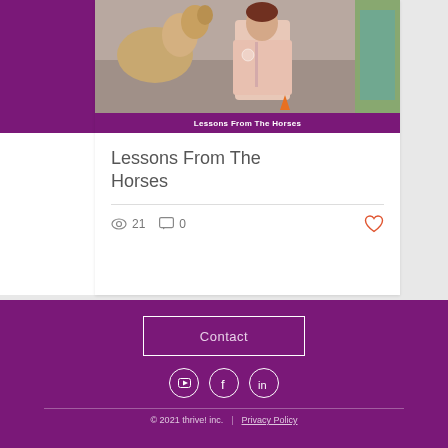[Figure (photo): Blog post card showing a woman in a pink fleece jacket next to a horse, with a purple label bar reading 'Lessons From The Horses']
Lessons From The Horses
21 views, 0 comments, heart/like button
Carousel navigation dots (3 dots, first active)
Contact button
Social media icons: YouTube, Facebook, LinkedIn
© 2021 thrive! inc.  |  Privacy Policy